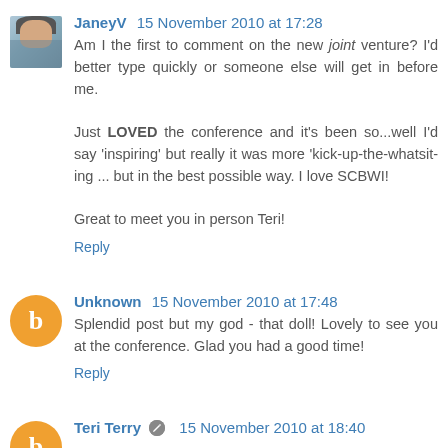JaneyV  15 November 2010 at 17:28
Am I the first to comment on the new joint venture? I'd better type quickly or someone else will get in before me.

Just LOVED the conference and it's been so...well I'd say 'inspiring' but really it was more 'kick-up-the-whatsit-ing ... but in the best possible way. I love SCBWI!

Great to meet you in person Teri!
Reply
Unknown  15 November 2010 at 17:48
Splendid post but my god - that doll! Lovely to see you at the conference. Glad you had a good time!
Reply
Teri Terry  15 November 2010 at 18:40